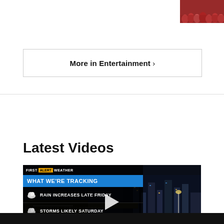[Figure (photo): Crowd photo thumbnail in top-right corner, crowd of people in red/dark colors]
More in Entertainment ›
Latest Videos
[Figure (screenshot): Video thumbnail showing night city aerial view with weather overlay: First Alert Weather, WHAT WE'RE TRACKING, RAIN INCREASES LATE FRIDAY, STORMS LIKELY SATURDAY, SCATTERED SHOWERS SUNDAY. Play button in center.]